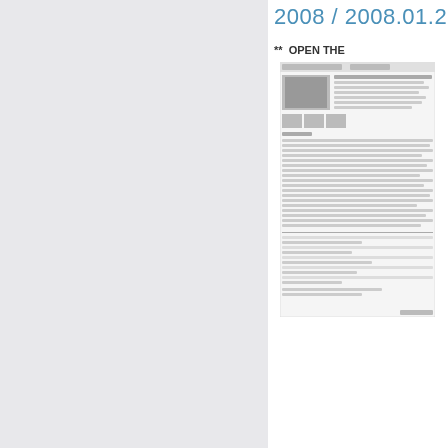2008 / 2008.01.2...
**  OPEN THE
[Figure (screenshot): Thumbnail screenshot of a document page showing text content and an image, appears to be a newspaper or report page with Japanese or Asian language content]